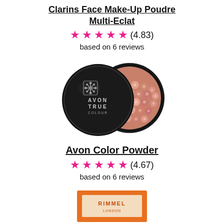Clarins Face Make-Up Poudre Multi-Eclat
★★★★★ (4.83) based on 6 reviews
[Figure (photo): Avon True Colour powder compact open showing black lid and rose gold pearl powder balls]
Avon Color Powder
★★★★★ (4.67) based on 6 reviews
[Figure (photo): Partially visible Rimmel product in orange packaging at bottom of page]